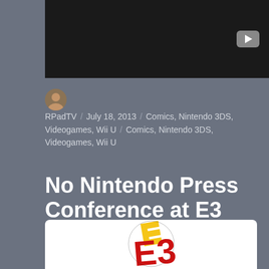[Figure (screenshot): Dark/black video thumbnail with a YouTube play button icon in the upper right corner]
RPadTV / July 18, 2013 / Comics, Nintendo 3DS, Videogames, Wii U / Comics, Nintendo 3DS, Videogames, Wii U
No Nintendo Press Conference at E3 2013
[Figure (logo): E3 Electronic Entertainment Expo logo — yellow and red stylized E3 logo on white background with red rounded rectangle border element]